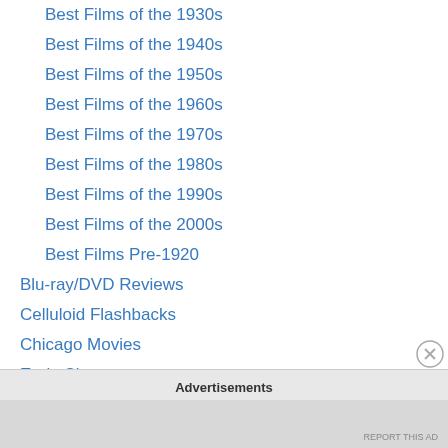Best Films of the 1930s
Best Films of the 1940s
Best Films of the 1950s
Best Films of the 1960s
Best Films of the 1970s
Best Films of the 1980s
Best Films of the 1990s
Best Films of the 2000s
Best Films Pre-1920
Blu-ray/DVD Reviews
Celluloid Flashbacks
Chicago Movies
Early Cinema
Essays
Film Festivals
Film Reviews
Advertisements
REPORT THIS AD